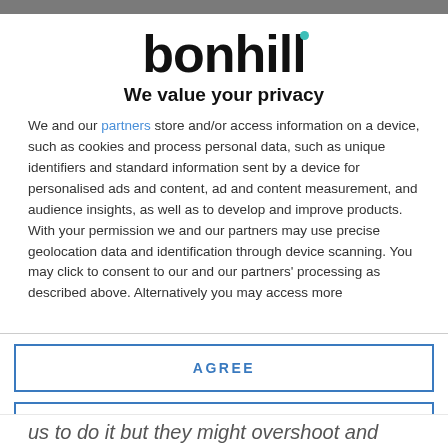[Figure (logo): Bonhill logo — bold black lowercase 'bonhill' text with a small teal dot above the second 'l']
We value your privacy
We and our partners store and/or access information on a device, such as cookies and process personal data, such as unique identifiers and standard information sent by a device for personalised ads and content, ad and content measurement, and audience insights, as well as to develop and improve products. With your permission we and our partners may use precise geolocation data and identification through device scanning. You may click to consent to our and our partners' processing as described above. Alternatively you may access more
AGREE
MORE OPTIONS
us to do it but they might overshoot and